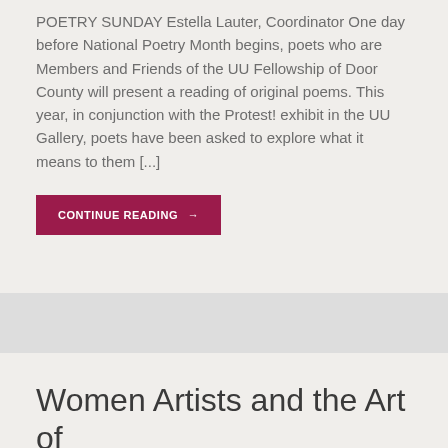POETRY SUNDAY Estella Lauter, Coordinator One day before National Poetry Month begins, poets who are Members and Friends of the UU Fellowship of Door County will present a reading of original poems. This year, in conjunction with the Protest! exhibit in the UU Gallery, poets have been asked to explore what it means to them [...]
CONTINUE READING →
Women Artists and the Art of Social Engagement
Posted on March 10, 2019 | Speaker: Estella Lauter